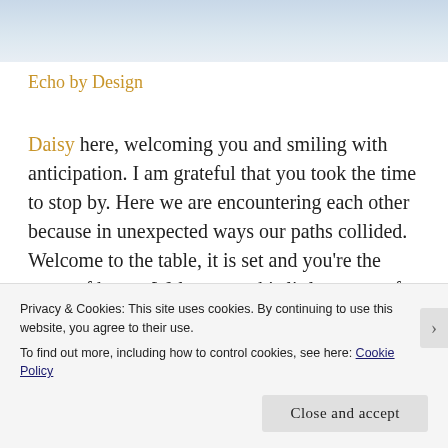[Figure (photo): Hero banner image with a light blue-grey sky/water background]
Echo by Design
Daisy here, welcoming you and smiling with anticipation. I am grateful that you took the time to stop by. Here we are encountering each other because in unexpected ways our paths collided. Welcome to the table, it is set and you're the guest of honor. Welcome to this little corner of the world that exists for encouragement, companionship and practical
Privacy & Cookies: This site uses cookies. By continuing to use this website, you agree to their use.
To find out more, including how to control cookies, see here: Cookie Policy
Close and accept